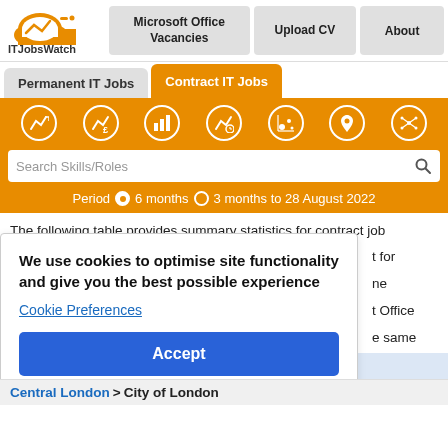[Figure (logo): ITJobsWatch logo with orange cloud icon and text]
Microsoft Office Vacancies
Upload CV
About
Permanent IT Jobs
Contract IT Jobs
[Figure (infographic): Row of 7 white icon circles on orange background: line chart, pound chart, bar chart, time chart, bubble chart, location pin, network]
Search Skills/Roles
Period  6 months  3 months to 28 August 2022
The following table provides summary statistics for contract job
We use cookies to optimise site functionality and give you the best possible experience
Cookie Preferences
Accept
t for
ne
t Office
e same
se
rates are
Central London > City of London